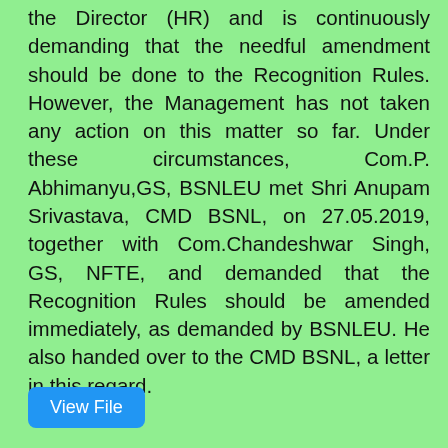the Director (HR) and is continuously demanding that the needful amendment should be done to the Recognition Rules. However, the Management has not taken any action on this matter so far. Under these circumstances, Com.P. Abhimanyu,GS, BSNLEU met Shri Anupam Srivastava, CMD BSNL, on 27.05.2019, together with Com.Chandeshwar Singh, GS, NFTE, and demanded that the Recognition Rules should be amended immediately, as demanded by BSNLEU. He also handed over to the CMD BSNL, a letter in this regard.
View File